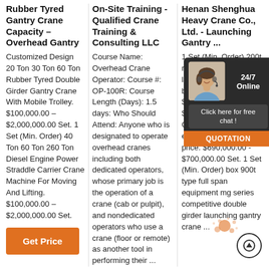Rubber Tyred Gantry Crane Capacity – Overhead Gantry
Customized Design 20 Ton 30 Ton 60 Ton Rubber Tyred Double Girder Gantry Crane With Mobile Trolley. $100,000.00 – $2,000,000.00 Set. 1 Set (Min. Order) 40 Ton 60 Ton 260 Ton Diesel Engine Power Straddle Carrier Crane Machine For Moving And Lifting. $100,000.00 – $2,000,000.00 Set.
Get Price
On-Site Training - Qualified Crane Training & Consulting LLC
Course Name: Overhead Crane Operator: Course #: OP-100R: Course Length (Days): 1.5 days: Who Should Attend: Anyone who is designated to operate overhead cranes including both dedicated operators, whose primary job is the operation of a crane (cab or pulpit), and nondedicated operators who use a crane (floor or remote) as another tool in performing their ...
Henan Shenghua Heavy Crane Co., Ltd. - Launching Gantry ...
1 Set (Min. Order) 200t rail launching gantry launcher Erecting beam installation. $240,000.00 – $250,000.00 Set (Min. Order) quality & express launching price. $690,000.00 - $700,000.00 Set. 1 Set (Min. Order) box 900t type full span equipment mg series competitive double girder launching gantry crane ...
[Figure (photo): Chat overlay popup with a woman wearing a headset, '24/7 Online' label, 'Click here for free chat!' bubble, and an orange QUOTATION button]